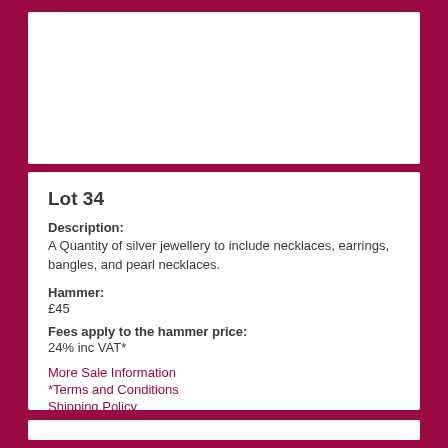Lot 34
Description:
A Quantity of silver jewellery to include necklaces, earrings, bangles, and pearl necklaces.
Hammer:
£45
Fees apply to the hammer price:
24% inc VAT*
More Sale Information
*Terms and Conditions
Shipping Policy